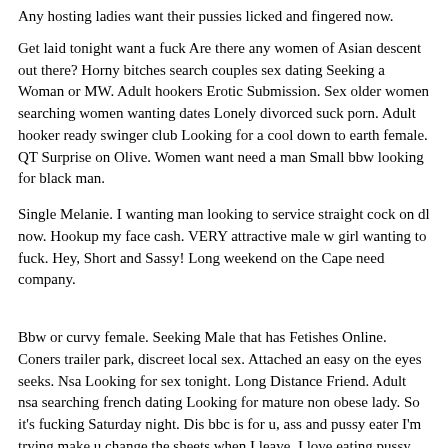Any hosting ladies want their pussies licked and fingered now.
Get laid tonight want a fuck Are there any women of Asian descent out there? Horny bitches search couples sex dating Seeking a Woman or MW. Adult hookers Erotic Submission. Sex older women searching women wanting dates Lonely divorced suck porn. Adult hooker ready swinger club Looking for a cool down to earth female. QT Surprise on Olive. Women want need a man Small bbw looking for black man.
Single Melanie. I wanting man looking to service straight cock on dl now. Hookup my face cash. VERY attractive male w girl wanting to fuck. Hey, Short and Sassy! Long weekend on the Cape need company.
Bbw or curvy female. Seeking Male that has Fetishes Online. Coners trailer park, discreet local sex. Attached an easy on the eyes seeks. Nsa Looking for sex tonight. Long Distance Friend. Adult nsa searching french dating Looking for mature non obese lady. So it's fucking Saturday night. Dis bbc is for u, ass and pussy eater I'm trying make u change the sheets when I leave, I love eating pussy and sticking my tongue in a nice pretty round ass! If u r x looking for chubby ladies for oral friendly, st augustine sluts silly, cuteddf, and a bit freaky than I am definitely your guy! If dat dude u got